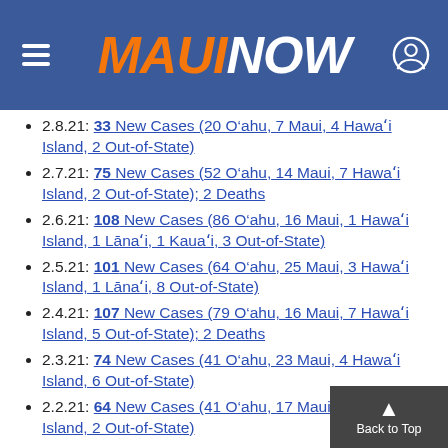MAUI NOW
2.8.21: 33 New Cases (20 O‘ahu, 7 Maui, 4 Hawai‘i Island, 2 Out-of-State)
2.7.21: 75 New Cases (52 O‘ahu, 14 Maui, 7 Hawai‘i Island, 2 Out-of-State); 2 Deaths
2.6.21: 108 New Cases (86 O‘ahu, 16 Maui, 1 Hawai‘i Island, 1 Lāna‘i, 1 Kaua‘i, 3 Out-of-State)
2.5.21: 101 New Cases (64 O‘ahu, 25 Maui, 3 Hawai‘i Island, 1 Lāna‘i, 8 Out-of-State)
2.4.21: 107 New Cases (79 O‘ahu, 16 Maui, 7 Hawai‘i Island, 5 Out-of-State); 2 Deaths
2.3.21: 74 New Cases (41 O‘ahu, 23 Maui, 4 Hawai‘i Island, 6 Out-of-State)
2.2.21: 64 New Cases (41 O‘ahu, 17 Maui, 4 Hawai‘i Island, 2 Out-of-State)
2.1.21: 90 New Cases (57 O‘ahu, 20 Mau...